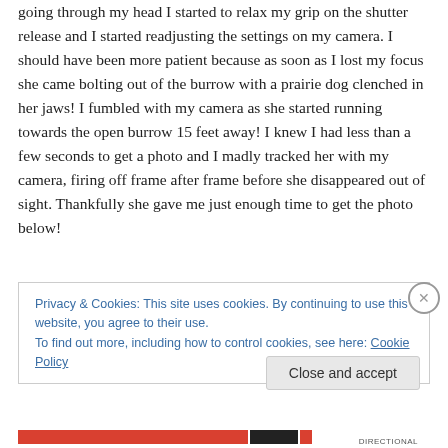going through my head I started to relax my grip on the shutter release and I started readjusting the settings on my camera. I should have been more patient because as soon as I lost my focus she came bolting out of the burrow with a prairie dog clenched in her jaws! I fumbled with my camera as she started running towards the open burrow 15 feet away! I knew I had less than a few seconds to get a photo and I madly tracked her with my camera, firing off frame after frame before she disappeared out of sight. Thankfully she gave me just enough time to get the photo below!
Privacy & Cookies: This site uses cookies. By continuing to use this website, you agree to their use.
To find out more, including how to control cookies, see here: Cookie Policy
Close and accept